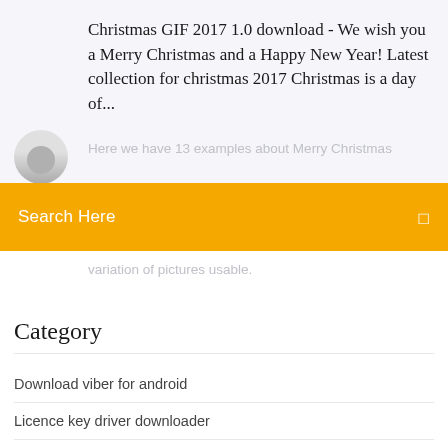Christmas GIF 2017 1.0 download - We wish you a Merry Christmas and a Happy New Year! Latest collection for christmas 2017 Christmas is a day of...
Here we have 13 examples about Merry Christmas
Search Here
variation of pictures usable.
Category
Download viber for android
Licence key driver downloader